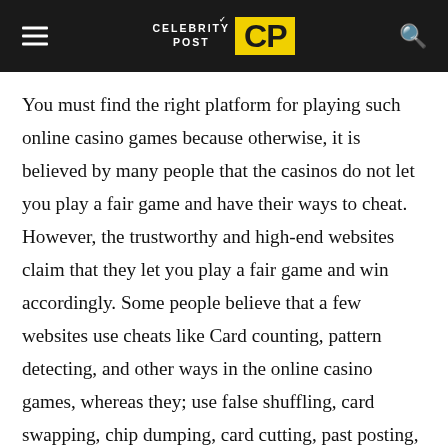CELEBRITY POST CP
You must find the right platform for playing such online casino games because otherwise, it is believed by many people that the casinos do not let you play a fair game and have their ways to cheat. However, the trustworthy and high-end websites claim that they let you play a fair game and win accordingly. Some people believe that a few websites use cheats like Card counting, pattern detecting, and other ways in the online casino games, whereas they; use false shuffling, card swapping, chip dumping, card cutting, past posting, and edge sorting. In these ways, they can cheat in both online and offline Baccarat. Well, in the end, it all comes to you that if you have chosen the right platform for yourself to avoid being a victim of unfair play and lose the amount you have placed in your bets to a false platform by your mistake.